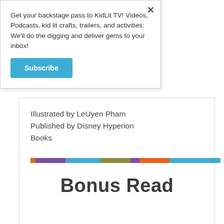Get your backstage pass to KidLit TV! Videos, Podcasts, kid lit crafts, trailers, and activities: We'll do the digging and deliver gems to your inbox!
Subscribe
Illustrated by LeUyen Pham Published by Disney Hyperion Books
[Figure (infographic): A horizontal multicolored segmented bar: orange, purple, blue, olive/green, purple, orange, blue, teal segments]
Bonus Read